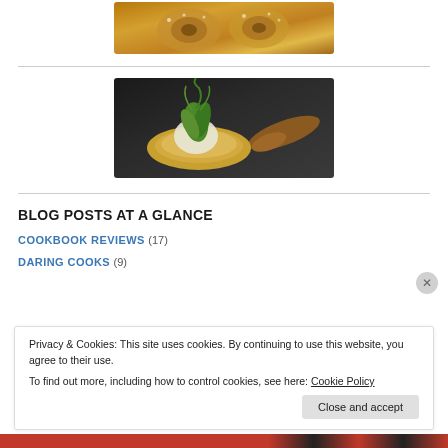[Figure (photo): Partial view of pastries with powdered sugar (cinnamon rolls) on a plate, top of image cropped]
[Figure (photo): A tart shell filled with green vegetables and a cream or sauce, with a wooden spoon on a dark background]
BLOG POSTS AT A GLANCE
COOKBOOK REVIEWS (17)
DARING COOKS (9)
Privacy & Cookies: This site uses cookies. By continuing to use this website, you agree to their use.
To find out more, including how to control cookies, see here: Cookie Policy
Close and accept